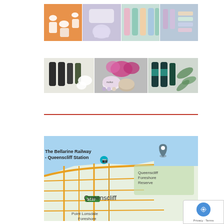[Figure (photo): A grid of four cosmetic/skincare product photos arranged horizontally: orange background with white tubes and containers, lavender background with cream jar and tube, pastel pink/blue with green/pink tubes, mint/purple background with various beauty product tubes and bottles.]
[Figure (photo): A horizontal grid of three skincare product photos: dark bottles and pumps with white flowers on white background, pink/purple flowers with circular tin and jar products, dark bottles with teal labels next to green leaves/eucalyptus.]
[Figure (map): Google Maps screenshot showing Queenscliff area in Victoria, Australia. Shows The Bellarine Railway - Queenscliff Station, Queenscliff Foreshore Reserve, Queenscliff town center with B110 road marker, Point Lonsdale Foreshore. Street grid visible with golden/orange road colors.]